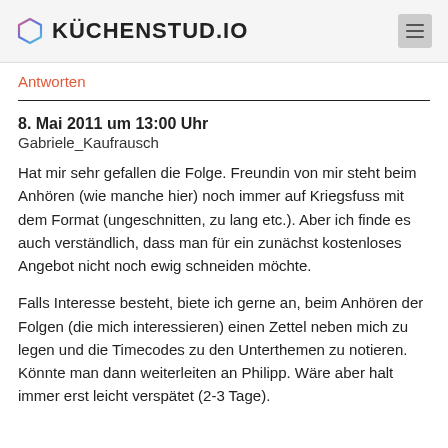KÜCHENSTUD.IO
Antworten
8. Mai 2011 um 13:00 Uhr
Gabriele_Kaufrausch
Hat mir sehr gefallen die Folge. Freundin von mir steht beim Anhören (wie manche hier) noch immer auf Kriegsfuss mit dem Format (ungeschnitten, zu lang etc.). Aber ich finde es auch verständlich, dass man für ein zunächst kostenloses Angebot nicht noch ewig schneiden möchte.
Falls Interesse besteht, biete ich gerne an, beim Anhören der Folgen (die mich interessieren) einen Zettel neben mich zu legen und die Timecodes zu den Unterthemen zu notieren. Könnte man dann weiterleiten an Philipp. Wäre aber halt immer erst leicht verspätet (2-3 Tage).